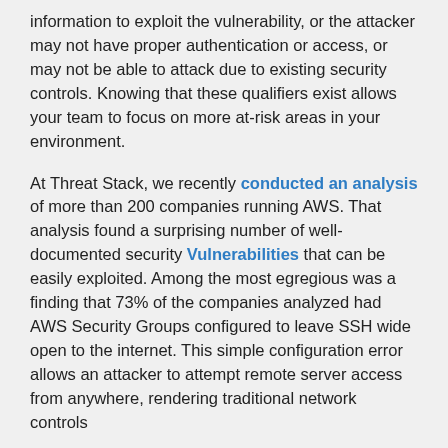information to exploit the vulnerability, or the attacker may not have proper authentication or access, or may not be able to attack due to existing security controls. Knowing that these qualifiers exist allows your team to focus on more at-risk areas in your environment.

At Threat Stack, we recently conducted an analysis of more than 200 companies running AWS. That analysis found a surprising number of well-documented security Vulnerabilities that can be easily exploited. Among the most egregious was a finding that 73% of the companies analyzed had AWS Security Groups configured to leave SSH wide open to the internet. This simple configuration error allows an attacker to attempt remote server access from anywhere, rendering traditional network controls